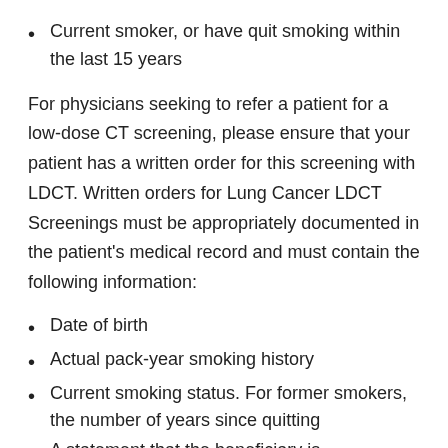Current smoker, or have quit smoking within the last 15 years
For physicians seeking to refer a patient for a low-dose CT screening, please ensure that your patient has a written order for this screening with LDCT. Written orders for Lung Cancer LDCT Screenings must be appropriately documented in the patient's medical record and must contain the following information:
Date of birth
Actual pack-year smoking history
Current smoking status. For former smokers, the number of years since quitting
A statement that the beneficiary is